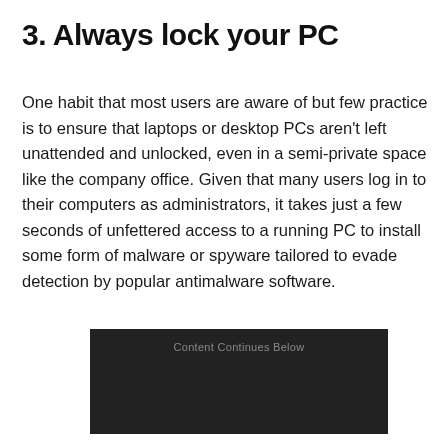3. Always lock your PC
One habit that most users are aware of but few practice is to ensure that laptops or desktop PCs aren't left unattended and unlocked, even in a semi-private space like the company office. Given that many users log in to their computers as administrators, it takes just a few seconds of unfettered access to a running PC to install some form of malware or spyware tailored to evade detection by popular antimalware software.
[Figure (other): Dark advertisement banner with text 'Content Continues Below']